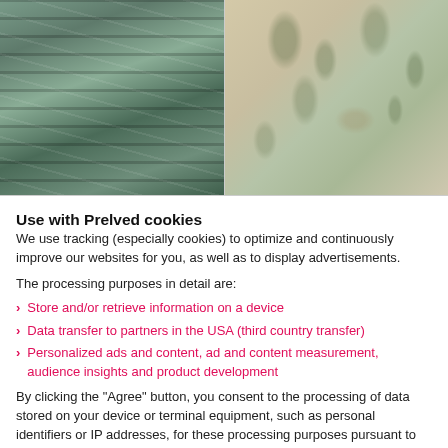[Figure (photo): Two clothing items: left is a green/grey tie-dye patterned dress or shirt, right is floral-patterned shorts with green leaf print on beige/tan background.]
Use with Prelved cookies
We use tracking (especially cookies) to optimize and continuously improve our websites for you, as well as to display advertisements.
The processing purposes in detail are:
Store and/or retrieve information on a device
Data transfer to partners in the USA (third country transfer)
Personalized ads and content, ad and content measurement, audience insights and product development
By clicking the "Agree" button, you consent to the processing of data stored on your device or terminal equipment, such as personal identifiers or IP addresses, for these processing purposes pursuant to Section 25 (1) TTDSG and Article 6 (1) lit. a DSGVO. Further details can be found in our privacy policy and in the Privacy-Manager linked at the bottom of each page (Cookies • Tracking). There you can revoke your consent at any time.
Reject | Agree